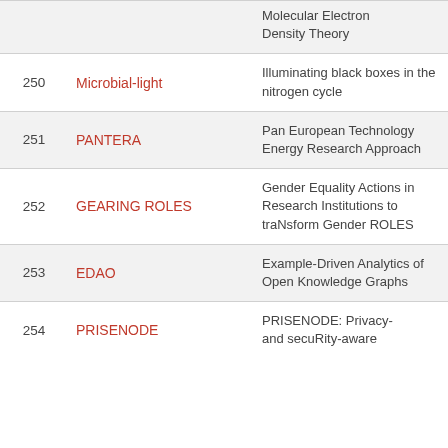| # | Acronym | Full Name |
| --- | --- | --- |
|  |  | Molecular Electron Density Theory |
| 250 | Microbial-light | Illuminating black boxes in the nitrogen cycle |
| 251 | PANTERA | Pan European Technology Energy Research Approach |
| 252 | GEARING ROLES | Gender Equality Actions in Research Institutions to traNsform Gender ROLES |
| 253 | EDAO | Example-Driven Analytics of Open Knowledge Graphs |
| 254 | PRISENODE | PRISENODE: Privacy- and secuRity-aware |